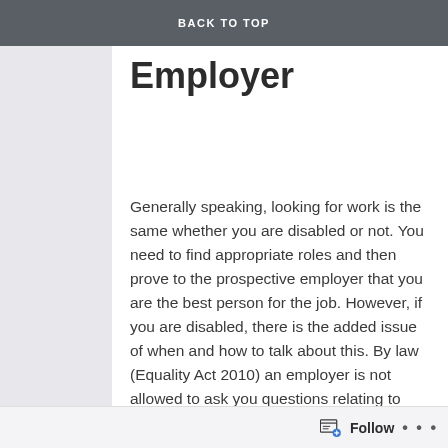BACK TO TOP
Employer
Generally speaking, looking for work is the same whether you are disabled or not. You need to find appropriate roles and then prove to the prospective employer that you are the best person for the job. However, if you are disabled, there is the added issue of when and how to talk about this. By law (Equality Act 2010) an employer is not allowed to ask you questions relating to health or disability (other than for monitoring purposes, or in order to provide reasonable
Follow ...